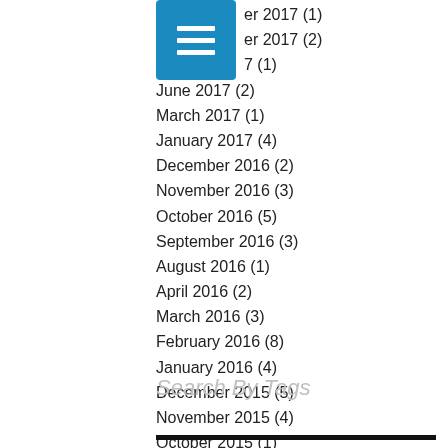[Figure (other): Blue hamburger menu icon button]
er 2017 (1)
er 2017 (2)
7 (1)
June 2017 (2)
March 2017 (1)
January 2017 (4)
December 2016 (2)
November 2016 (3)
October 2016 (5)
September 2016 (3)
August 2016 (1)
April 2016 (2)
March 2016 (3)
February 2016 (8)
January 2016 (4)
December 2015 (5)
November 2015 (4)
October 2015 (1)
Search By Tags